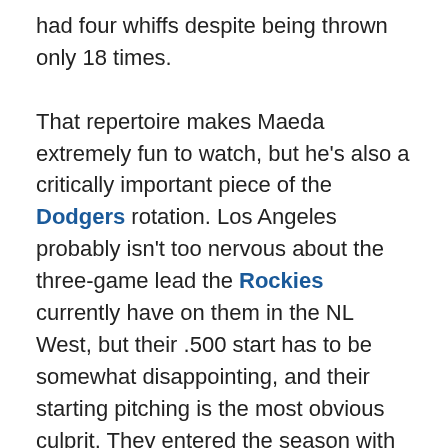had four whiffs despite being thrown only 18 times.

That repertoire makes Maeda extremely fun to watch, but he's also a critically important piece of the Dodgers rotation. Los Angeles probably isn't too nervous about the three-game lead the Rockies currently have on them in the NL West, but their .500 start has to be somewhat disappointing, and their starting pitching is the most obvious culprit. They entered the season with the best projected WAR, according to FanGraphs' depth charts, but they're currently sitting at 9th in actual WAR, and even that placement is mostly thanks to Clayton Kershaw being exactly as good as he's supposed to be. Getting their supporting cast back on track will go a long way toward righting the Dodgers' ship, so this most recent start from Maeda has to be extremely encouraging.